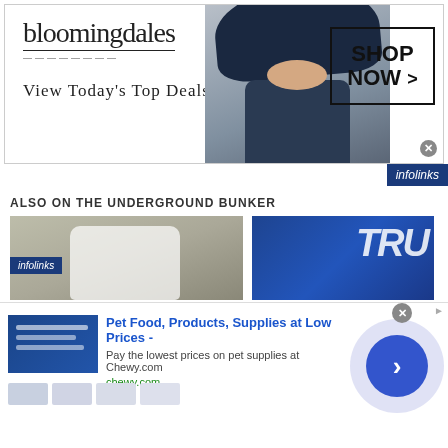[Figure (screenshot): Bloomingdales banner advertisement with logo, 'View Today's Top Deals!' tagline, model with wide-brim hat, and 'SHOP NOW >' button in a bordered box]
[Figure (logo): Infolinks badge in dark blue, top right]
ALSO ON THE UNDERGROUND BUNKER
[Figure (photo): Thumbnail of person in white clothes, grayscale background]
[Figure (photo): Thumbnail showing blue background with partial text 'TRU' (Trump)]
[Figure (logo): Infolinks badge overlaying thumbnail area]
[Figure (screenshot): Bottom ad for Chewy.com: 'Pet Food, Products, Supplies at Low Prices - Pay the lowest prices on pet supplies at Chewy.com' with arrow navigation button and close button]